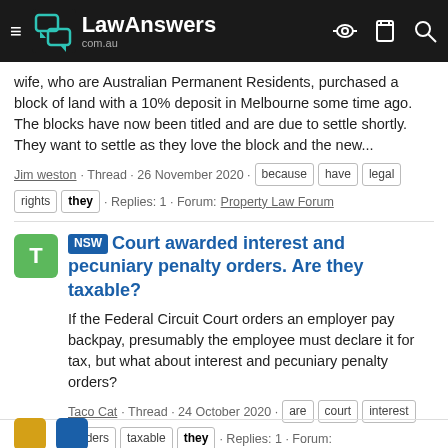LawAnswers com.au
wife, who are Australian Permanent Residents, purchased a block of land with a 10% deposit in Melbourne some time ago. The blocks have now been titled and are due to settle shortly. They want to settle as they love the block and the new...
Jim weston · Thread · 26 November 2020 · because have legal rights they · Replies: 1 · Forum: Property Law Forum
NSW Court awarded interest and pecuniary penalty orders. Are they taxable?
If the Federal Circuit Court orders an employer pay backpay, presumably the employee must declare it for tax, but what about interest and pecuniary penalty orders?
Taco Cat · Thread · 24 October 2020 · are court interest orders taxable they · Replies: 1 · Forum: Employment Law Forum